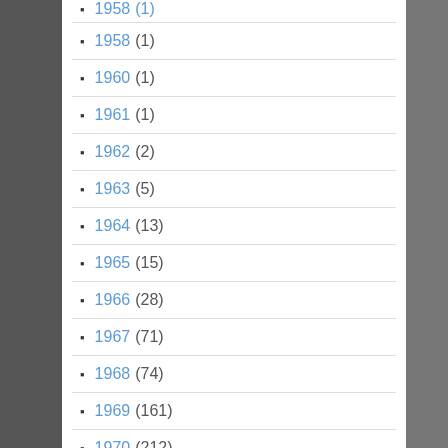1958 (1)
1960 (1)
1961 (1)
1962 (2)
1963 (5)
1964 (13)
1965 (15)
1966 (28)
1967 (71)
1968 (74)
1969 (161)
1970 (212)
1971 (196)
1972 (231)